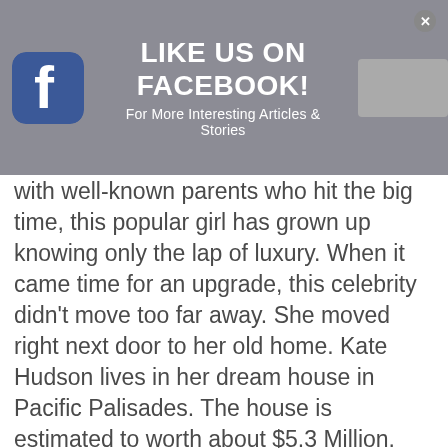[Figure (other): Facebook 'Like Us On Facebook!' promotional banner overlay with Facebook logo icon on the left, bold white text 'LIKE US ON FACEBOOK!' in the center, subtitle 'For More Interesting Articles & Stories', a gray placeholder image on the right, and a close (X) button in the top-right corner. The banner has a gray semi-transparent background.]
with well-known parents who hit the big time, this popular girl has grown up knowing only the lap of luxury. When it came time for an upgrade, this celebrity didn't move too far away. She moved right next door to her old home. Kate Hudson lives in her dream house in Pacific Palisades. The house is estimated to worth about $5.3 Million. Her high profile lifestyle puts her at higher risk for a break-in, so she made sure she can rest easy. She added her own touch of an elaborate high-tech security system to keep her and her belongings safe.